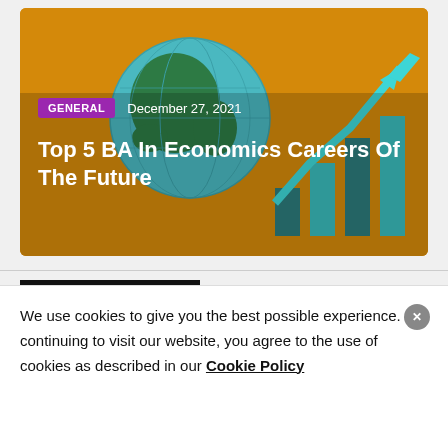[Figure (illustration): Hero image with gold/yellow background showing a globe and bar chart with upward arrow, illustrating economics/growth. Overlaid with 'GENERAL' purple tag, date 'December 27, 2021', and title 'Top 5 BA In Economics Careers Of The Future' in white text.]
[Figure (logo): The Tech Wide logo — large black 'THE' with a vertical bar on left, and 'TECH WIDE' in bold blue text to the right.]
We use cookies to give you the best possible experience. By continuing to visit our website, you agree to the use of cookies as described in our Cookie Policy